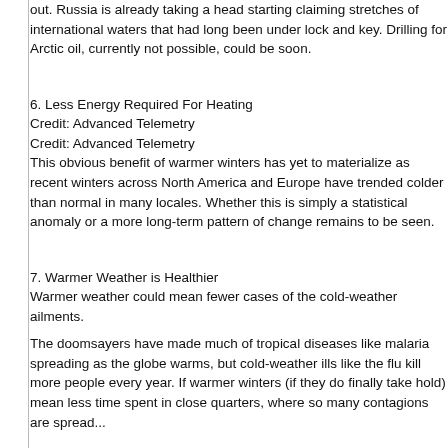out. Russia is already taking a head starting claiming stretches of international waters that had long been under lock and key. Drilling for Arctic oil, currently not possible, could be soon.
6. Less Energy Required For Heating
Credit: Advanced Telemetry
Credit: Advanced Telemetry
This obvious benefit of warmer winters has yet to materialize as recent winters across North America and Europe have trended colder than normal in many locales. Whether this is simply a statistical anomaly or a more long-term pattern of change remains to be seen.
7. Warmer Weather is Healthier
Warmer weather could mean fewer cases of the cold-weather ailments.
The doomsayers have made much of tropical diseases like malaria spreading as the globe warms, but cold-weather ills like the flu kill more people every year. If warmer winters (if they do finally take hold) mean less time spent in close quarters, where so many contagions are spread...